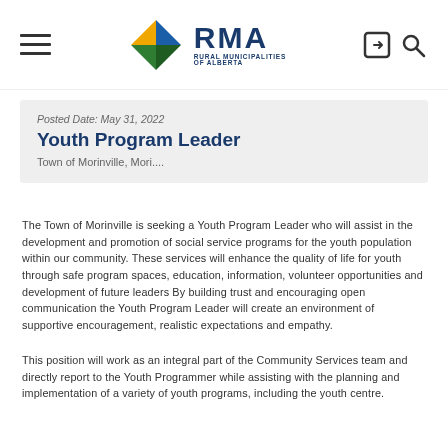[Figure (logo): RMA Rural Municipalities of Alberta logo with diamond-shaped icon in blue, green, and gold]
Posted Date: May 31, 2022
Youth Program Leader
Town of Morinville, Mori....
The Town of Morinville is seeking a Youth Program Leader who will assist in the development and promotion of social service programs for the youth population within our community. These services will enhance the quality of life for youth through safe program spaces, education, information, volunteer opportunities and development of future leaders By building trust and encouraging open communication the Youth Program Leader will create an environment of supportive encouragement, realistic expectations and empathy.
This position will work as an integral part of the Community Services team and directly report to the Youth Programmer while assisting with the planning and implementation of a variety of youth programs, including the youth centre.